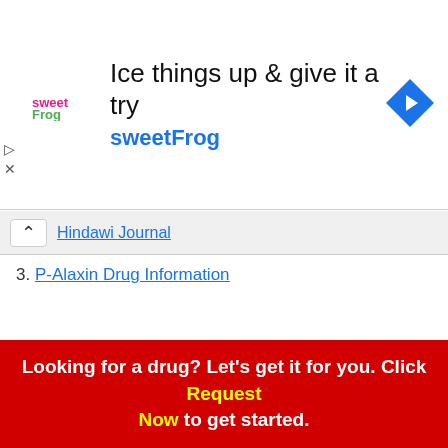[Figure (screenshot): Advertisement banner for sweetFrog frozen yogurt: logo on left, headline 'Ice things up & give it a try', subline 'sweetFrog', blue diamond navigation arrow on right]
Hindawi Journal
3. P-Alaxin Drug Information
Lapizole Uses, Dosage, Side Effects and Interactions
Temerol Uses, Dosage, Side Effects and Interactions
Looking for a drug? Let's get it for you. Click Request Now to get started.